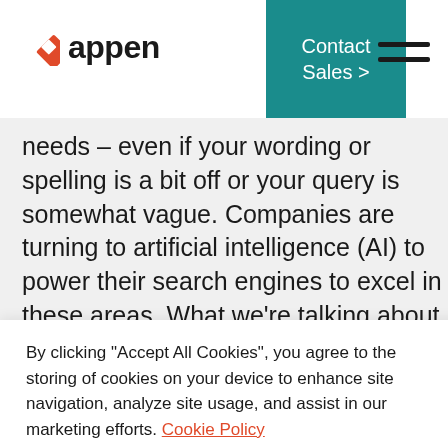appen | Contact Sales >
needs – even if your wording or spelling is a bit off or your query is somewhat vague. Companies are turning to artificial intelligence (AI) to power their search engines to excel in these areas. What we're talking about here specifically is AI-powered search
By clicking “Accept All Cookies”, you agree to the storing of cookies on your device to enhance site navigation, analyze site usage, and assist in our marketing efforts. Cookie Policy
Accept All Cookies
Cookies Settings